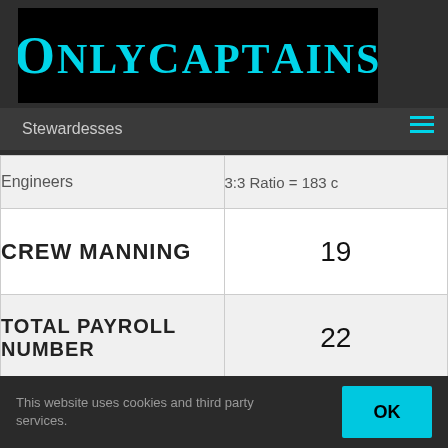[Figure (logo): OnlyCaptains logo — cyan text on black background with compass/divider tool icons integrated into lettering]
Stewardesses
|  |  |
| --- | --- |
| Engineers | 3:3 Ratio = 183 c |
| CREW MANNING | 19 |
| TOTAL PAYROLL NUMBER | 22 |
This website uses cookies and third party services.